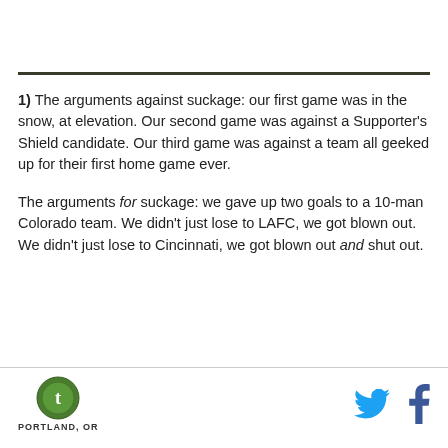1) The arguments against suckage: our first game was in the snow, at elevation. Our second game was against a Supporter's Shield candidate. Our third game was against a team all geeked up for their first home game ever.
The arguments for suckage: we gave up two goals to a 10-man Colorado team. We didn't just lose to LAFC, we got blown out. We didn't just lose to Cincinnati, we got blown out and shut out.
PORTLAND, OR